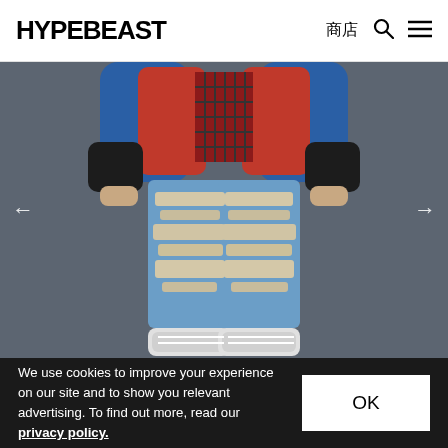HYPEBEAST 商店
[Figure (photo): Person wearing heavily distressed blue jeans with ripped knees and thighs, a red and blue sherpa/fleece jacket layered over a plaid flannel shirt, photographed from waist down on a grey background. White sneakers visible at bottom.]
We use cookies to improve your experience on our site and to show you relevant advertising. To find out more, read our privacy policy.